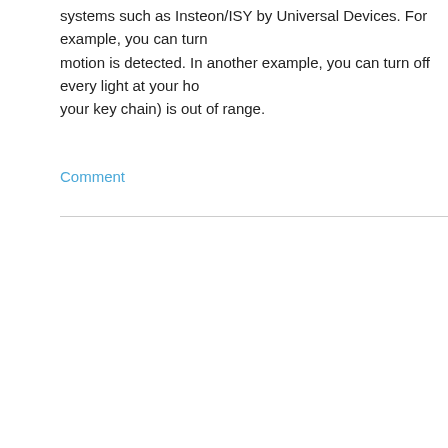systems such as Insteon/ISY by Universal Devices. For example, you can turn motion is detected. In another example, you can turn off every light at your ho your key chain) is out of range.
Comment